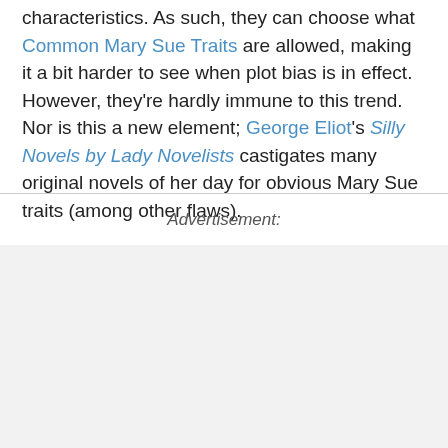characteristics. As such, they can choose what Common Mary Sue Traits are allowed, making it a bit harder to see when plot bias is in effect. However, they're hardly immune to this trend. Nor is this a new element; George Eliot's Silly Novels by Lady Novelists castigates many original novels of her day for obvious Mary Sue traits (among other flaws).
Advertisement: